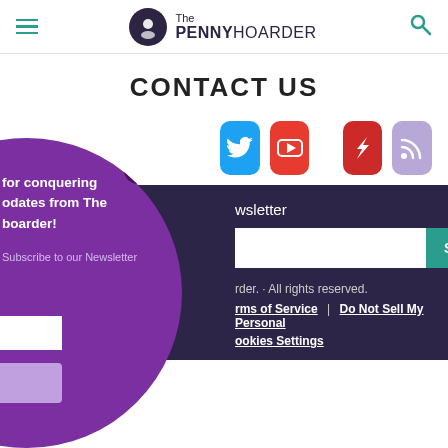[Figure (screenshot): The Penny Hoarder website header with hamburger menu, logo, and search icon]
CONTACT US
[Figure (infographic): Social media icons: Twitter (blue), YouTube (red), Feedly (red lightning), RSS (purple)]
[Figure (infographic): Purple circular popup overlay with close button, text about conquering updates from The Penny Hoarder, newsletter subscribe input and button]
Newsletter
rder. - All rights reserved.
Terms of Service | Do Not Sell My Personal
ookies Settings